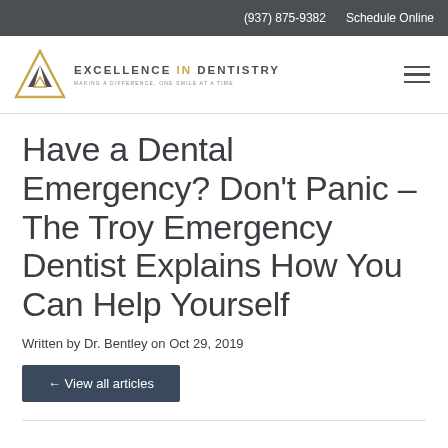(937) 875-9382  Schedule Online
[Figure (logo): Excellence in Dentistry logo with triangular geometric icon and text 'EXCELLENCE IN DENTISTRY – Making a difference, one smile at a time']
Have a Dental Emergency? Don't Panic – The Troy Emergency Dentist Explains How You Can Help Yourself
Written by Dr. Bentley on Oct 29, 2019
← View all articles